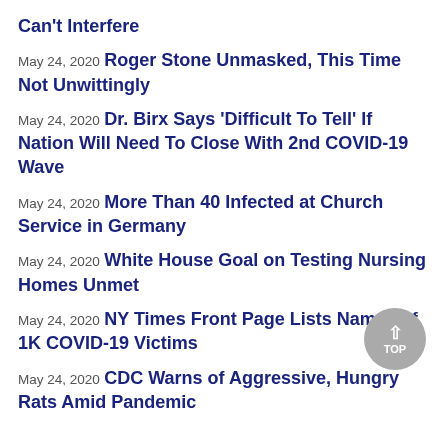Can't Interfere
May 24, 2020 Roger Stone Unmasked, This Time Not Unwittingly
May 24, 2020 Dr. Birx Says 'Difficult To Tell' If Nation Will Need To Close With 2nd COVID-19 Wave
May 24, 2020 More Than 40 Infected at Church Service in Germany
May 24, 2020 White House Goal on Testing Nursing Homes Unmet
May 24, 2020 NY Times Front Page Lists Names of 1K COVID-19 Victims
May 24, 2020 CDC Warns of Aggressive, Hungry Rats Amid Pandemic